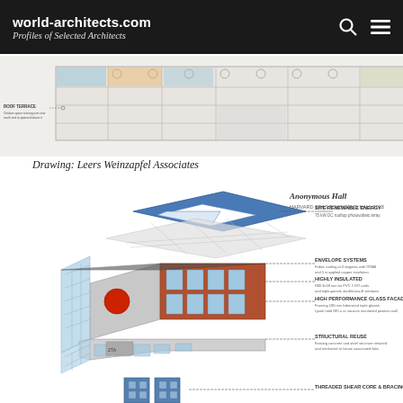world-architects.com Profiles of Selected Architects
[Figure (engineering-diagram): Architectural section/floor plan drawing showing roof terrace level with program key legend including: privately and community studies, classrooms labs and faculty offices, conference and meeting, public space, mechanical, core space]
Drawing: Leers Weinzapfel Associates
[Figure (engineering-diagram): Exploded axonometric architectural diagram of Anonymous Hall (Harvard SEAS Townsend Hall 2018) showing building systems layers from top to bottom: SITE RENEWABLE ENERGY (75 kW DC rooftop photovoltaic array), ENVELOPE SYSTEMS (Fabric roofing at 0 degrees with OOA8 and 5 in applied copper insulation), HIGHLY INSULATED (R00 E-03 min for PVC 2 DO roofs and triple-paned, double-low-E windows), HIGH PERFORMANCE GLASS FACADE (Framed by 100 mm fabricated triple glazed, Lyzak hold 585 a or vacuum monitored position wall), STRUCTURAL REUSE (Existing concrete and steel structure retained and reinforced to house associated labs), THREADED SHEAR CORE & BRACING]